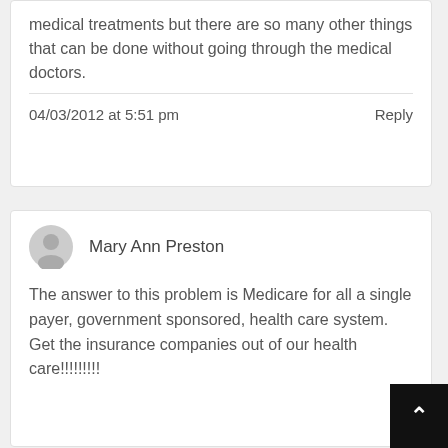medical treatments but there are so many other things that can be done without going through the medical doctors.
04/03/2012 at 5:51 pm
Reply
Mary Ann Preston
The answer to this problem is Medicare for all a single payer, government sponsored, health care system. Get the insurance companies out of our health care!!!!!!!!!